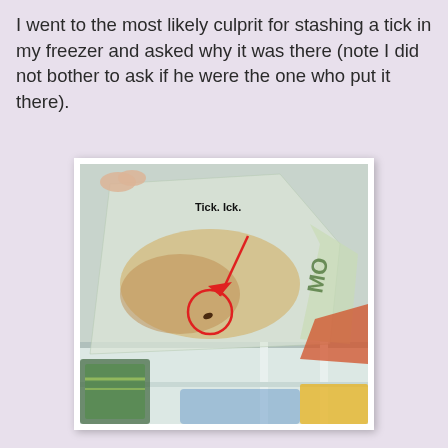I went to the most likely culprit for stashing a tick in my freezer and asked why it was there (note I did not bother to ask if he were the one who put it there).
[Figure (photo): A photo taken inside a freezer showing a clear plastic bag with a small tick circled in red with a red arrow pointing to it. The label 'Tick. Ick.' is written in bold text on the photo. The freezer shelves and other food items are visible.]